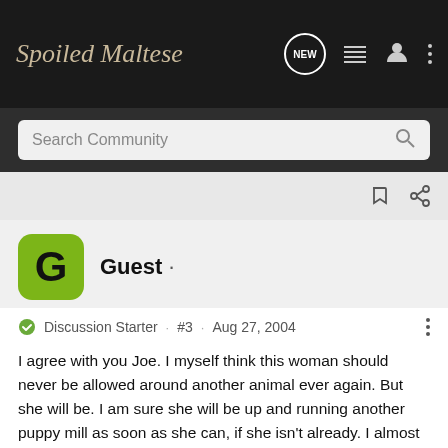Spoiled Maltese
Search Community
Guest ·
Discussion Starter · #3 · Aug 27, 2004
I agree with you Joe. I myself think this woman should never be allowed around another animal ever again. But she will be. I am sure she will be up and running another puppy mill as soon as she can, if she isn't already. I almost went to her place last year to see her puppies, but found my breeder in Pittsburgh and decided to get Lacey from her. I am just thankful that Lacey came from a wonderful woman.
Will keep you posted when something else is known.